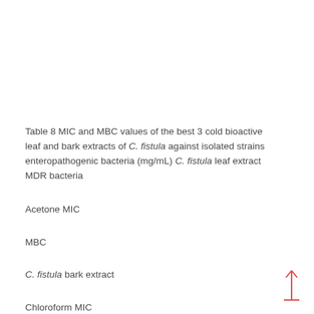Table 8 MIC and MBC values of the best 3 cold bioactive leaf and bark extracts of C. fistula against isolated strains enteropathogenic bacteria (mg/mL) C. fistula leaf extract MDR bacteria
Acetone MIC
MBC
C. fistula bark extract
Chloroform MIC
MBC